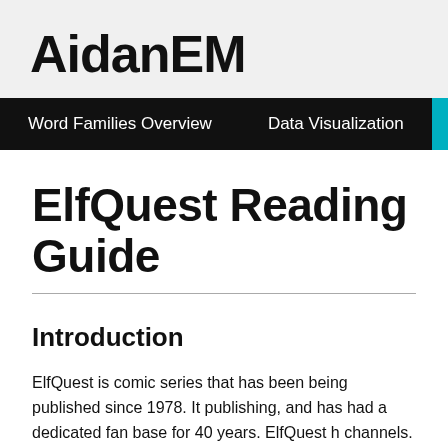AidanEM
Word Families Overview   Data Visualization   Misc
ElfQuest Reading Guide
Introduction
ElfQuest is comic series that has been being published since 1978. It publishing, and has had a dedicated fan base for 40 years. ElfQuest h channels. I'm not going to try to explain to you here all the reasons wh